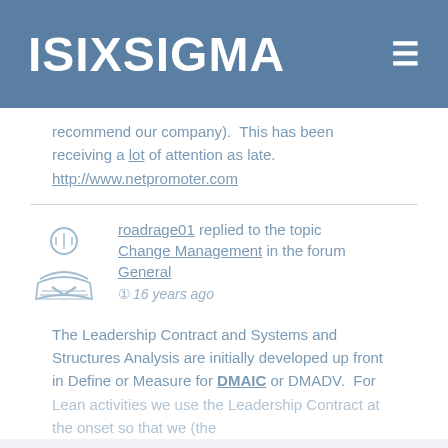ISIXSIGMA
recommend our company).  This has been receiving a lot of attention as late. http://www.netpromoter.com
roadrage01 replied to the topic Change Management in the forum General
16 years ago
The Leadership Contract and Systems and Structures Analysis are initially developed up front in Define or Measure for DMAIC or DMADV.  For Lean activities we use the Leadership Contract at the onset so that we (the